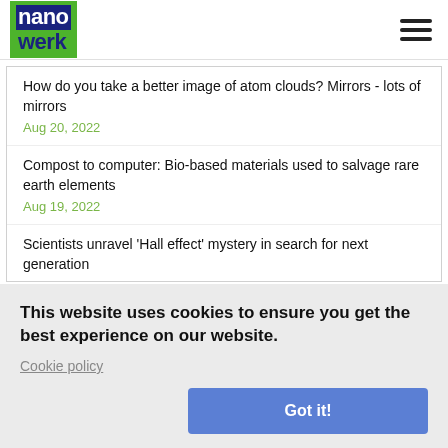[Figure (logo): Nanowerk logo with blue and green colors, hamburger menu icon on the right]
How do you take a better image of atom clouds? Mirrors - lots of mirrors
Aug 20, 2022
Compost to computer: Bio-based materials used to salvage rare earth elements
Aug 19, 2022
Scientists unravel 'Hall effect' mystery in search for next generation
This website uses cookies to ensure you get the best experience on our website.
Cookie policy
Got it!
Aug 19, 2022